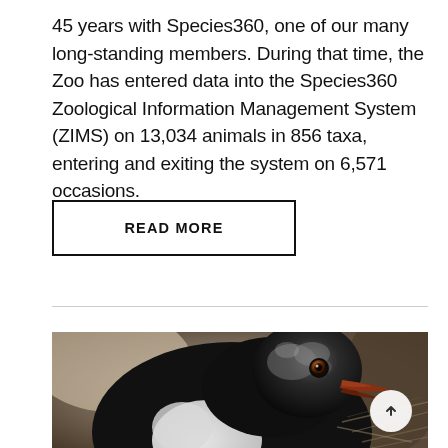45 years with Species360, one of our many long-standing members. During that time, the Zoo has entered data into the Species360 Zoological Information Management System (ZIMS) on 13,034 animals in 856 taxa, entering and exiting the system on 6,571 occasions.
READ MORE
[Figure (photo): Close-up photograph of a penguin, showing its black and white plumage and beak, viewed from the side in low-light conditions.]